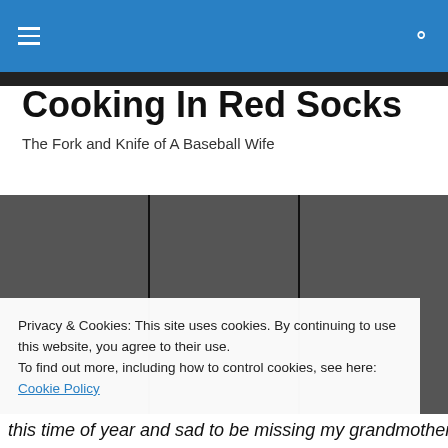Cooking In Red Socks – navigation bar
Cooking In Red Socks
The Fork and Knife of A Baseball Wife
[Figure (photo): Three photos of a couple at baseball venues: left photo shows a woman and a man in blue baseball catcher gear on a field; center photo shows a man in a green Red Sox jersey and a woman; right photo shows two women and a small white dog at a ballpark.]
Privacy & Cookies: This site uses cookies. By continuing to use this website, you agree to their use.
To find out more, including how to control cookies, see here: Cookie Policy

Close and accept
this time of year and sad to be missing my grandmother's